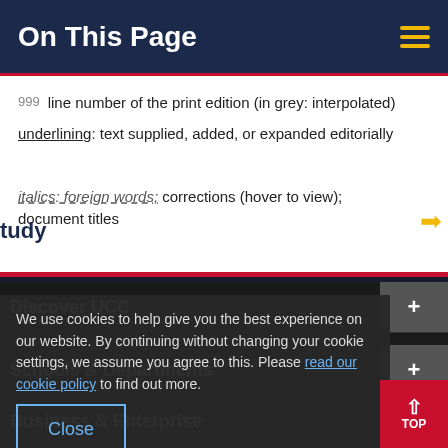On This Page
999 line number of the print edition (in grey: interpolated)
underlining: text supplied, added, or expanded editorially
italics: foreign words; corrections (hover to view); document titles
Discover UCC
Schools & Departments
We use cookies to help give you the best experience on our website. By continuing without changing your cookie settings, we assume you agree to this. Please read our cookie policy to find out more.
Business & Enterprise
Alumni & Development
Home